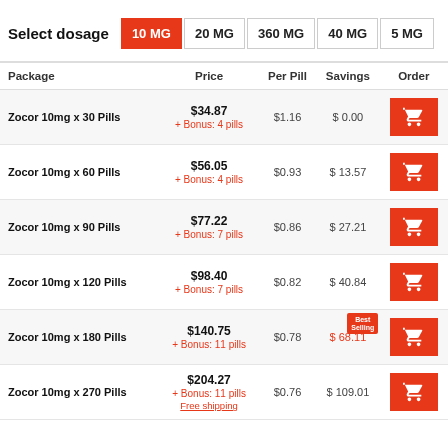Select dosage: 10 MG, 20 MG, 360 MG, 40 MG, 5 MG
| Package | Price | Per Pill | Savings | Order |
| --- | --- | --- | --- | --- |
| Zocor 10mg x 30 Pills | $34.87
+ Bonus: 4 pills | $1.16 | $ 0.00 |  |
| Zocor 10mg x 60 Pills | $56.05
+ Bonus: 4 pills | $0.93 | $ 13.57 |  |
| Zocor 10mg x 90 Pills | $77.22
+ Bonus: 7 pills | $0.86 | $ 27.21 |  |
| Zocor 10mg x 120 Pills | $98.40
+ Bonus: 7 pills | $0.82 | $ 40.84 |  |
| Zocor 10mg x 180 Pills | $140.75
+ Bonus: 11 pills | $0.78 | $ 68.11 |  |
| Zocor 10mg x 270 Pills | $204.27
+ Bonus: 11 pills
Free shipping | $0.76 | $ 109.01 |  |